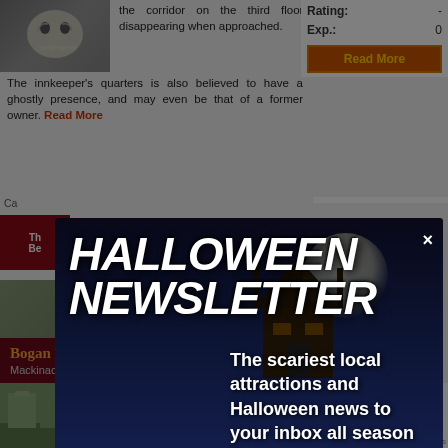the corridor on the third floor, disappearing when approached. The innkeeper's quarters is also believed to have a ghostly presence, and may even be that of a former owner. Read More
Rating: -
Exp.: 0
Read More
[Figure (screenshot): Halloween newsletter modal popup overlay on a haunted places website. Shows a dark spooky scene with a glowing jack-o-lantern pumpkin, haunted house silhouette, graveyard crosses, and trees against a moonlit blue-purple night sky. Title reads 'HALLOWEEN NEWSLETTER' with an X close button. Subtext: 'The scariest local attractions and Halloween news to your inbox all season long'. Michigan Edition. Email input field with Join button.]
HALLOWEEN NEWSLETTER
The scariest local attractions and Halloween news to your inbox all season long
• Michigan Edition •
[your email]
Join
Bogan Lane Inn
Mackinac Island, MI
Buit in the mid-1850s as a family home, it was left vacant for a
Views: 2,408
Photos: 1